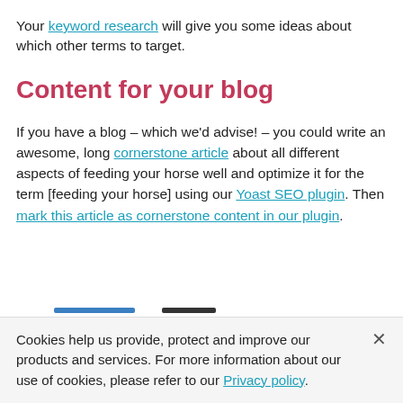Your keyword research will give you some ideas about which other terms to target.
Content for your blog
If you have a blog – which we'd advise! – you could write an awesome, long cornerstone article about all different aspects of feeding your horse well and optimize it for the term [feeding your horse] using our Yoast SEO plugin. Then mark this article as cornerstone content in our plugin.
Cookies help us provide, protect and improve our products and services. For more information about our use of cookies, please refer to our Privacy policy.